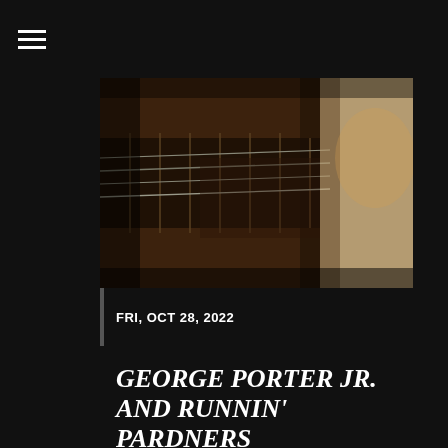[Figure (photo): Close-up photo of someone playing an electric bass guitar, showing the frets, strings, and hands. Dark, moody lighting with warm tones.]
FRI, OCT 28, 2022
GEORGE PORTER JR. AND RUNNIN' PARDNERS
All Ages
Doors: 8pm Show: 9pm
$37
Sweetwater Music Hall